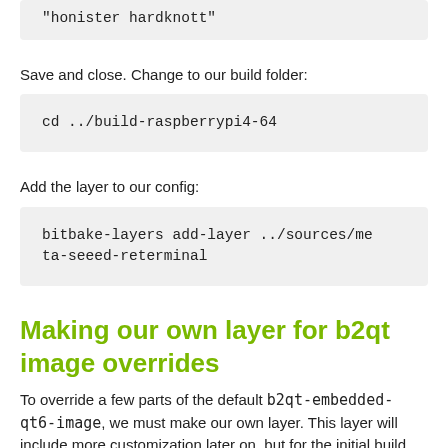"honister hardknott"
Save and close. Change to our build folder:
cd ../build-raspberrypi4-64
Add the layer to our config:
bitbake-layers add-layer ../sources/meta-seeed-reterminal
Making our own layer for b2qt image overrides
To override a few parts of the default b2qt-embedded-qt6-image, we must make our own layer. This layer will include more customization later on, but for the initial build, we'll only override parts of the image. Why do we